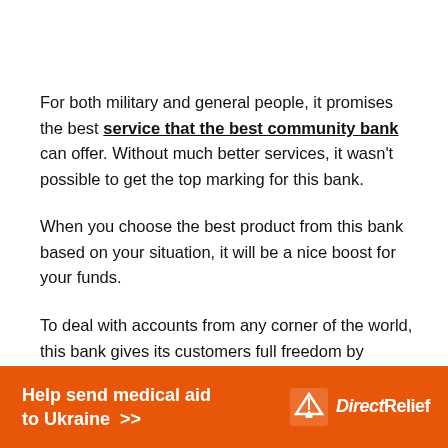For both military and general people, it promises the best service that the best community bank can offer. Without much better services, it wasn't possible to get the top marking for this bank.
When you choose the best product from this bank based on your situation, it will be a nice boost for your funds.
To deal with accounts from any corner of the world, this bank gives its customers full freedom by offering...
[Figure (infographic): Orange advertisement banner: 'Help send medical aid to Ukraine >>' with Direct Relief logo on the right.]